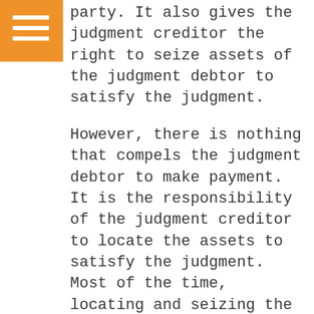party. It also gives the judgment creditor the right to seize assets of the judgment debtor to satisfy the judgment.
However, there is nothing that compels the judgment debtor to make payment. It is the responsibility of the judgment creditor to locate the assets to satisfy the judgment. Most of the time, locating and seizing the assets can be more difficult than obtaining the judgment in the first place, as most judgment debtors will not cooperate, and will seek to conceal assets from discovery.